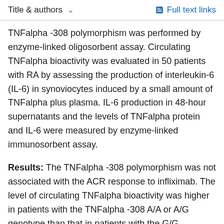Title & authors   Full text links
TNFalpha -308 polymorphism was performed by enzyme-linked oligosorbent assay. Circulating TNFalpha bioactivity was evaluated in 50 patients with RA by assessing the production of interleukin-6 (IL-6) in synoviocytes induced by a small amount of TNFalpha plus plasma. IL-6 production in 48-hour supernatants and the levels of TNFalpha protein and IL-6 were measured by enzyme-linked immunosorbent assay.
Results: The TNFalpha -308 polymorphism was not associated with the ACR response to infliximab. The level of circulating TNFalpha bioactivity was higher in patients with the TNFalpha -308 A/A or A/G genotype than that in patients with the G/G genotype (median 50.0 ng/ml [interquartile range (IQR) 31.5-62.0] versus 33.0 ng/ml [IQR 16.5-47.5]; P < 0.02). However, no difference was observed for the TNFalpha protein level according to genotype (median 0.60 ng/ml [IQR 0.30-0.95] for G/G